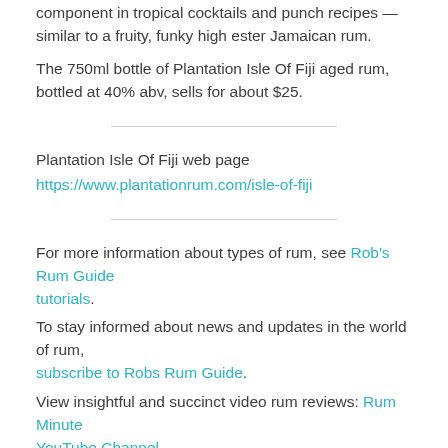component in tropical cocktails and punch recipes — similar to a fruity, funky high ester Jamaican rum.
The 750ml bottle of Plantation Isle Of Fiji aged rum, bottled at 40% abv, sells for about $25.
Plantation Isle Of Fiji web page
https://www.plantationrum.com/isle-of-fiji
For more information about types of rum, see Rob's Rum Guide tutorials. To stay informed about news and updates in the world of rum, subscribe to Robs Rum Guide. View insightful and succinct video rum reviews: Rum Minute YouTube Channel. Taste The Best Rums: Miami Rum Festival and Rum Renaissance